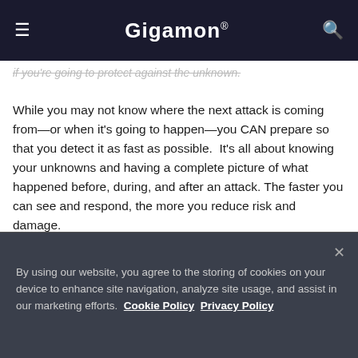Gigamon®
if you're going to protect against the unknown.
While you may not know where the next attack is coming from—or when it's going to happen—you CAN prepare so that you detect it as fast as possible.  It's all about knowing your unknowns and having a complete picture of what happened before, during, and after an attack. The faster you can see and respond, the more you reduce risk and damage.
By using our website, you agree to the storing of cookies on your device to enhance site navigation, analyze site usage, and assist in our marketing efforts.  Cookie Policy  Privacy Policy